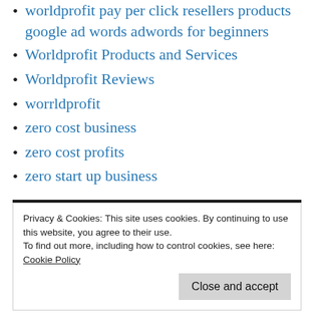worldprofit pay per click resellers products google ad words adwords for beginners
Worldprofit Products and Services
Worldprofit Reviews
worrldprofit
zero cost business
zero cost profits
zero start up business
Privacy & Cookies: This site uses cookies. By continuing to use this website, you agree to their use.
To find out more, including how to control cookies, see here:
Cookie Policy
Close and accept
Comments feed